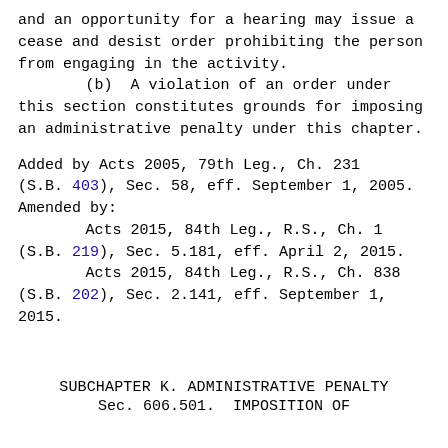and an opportunity for a hearing may issue a cease and desist order prohibiting the person from engaging in the activity.
        (b)  A violation of an order under this section constitutes grounds for imposing an administrative penalty under this chapter.
Added by Acts 2005, 79th Leg., Ch. 231 (S.B. 403), Sec. 58, eff. September 1, 2005.
Amended by:
        Acts 2015, 84th Leg., R.S., Ch. 1 (S.B. 219), Sec. 5.181, eff. April 2, 2015.
        Acts 2015, 84th Leg., R.S., Ch. 838 (S.B. 202), Sec. 2.141, eff. September 1, 2015.
SUBCHAPTER K. ADMINISTRATIVE PENALTY
Sec. 606.501.  IMPOSITION OF